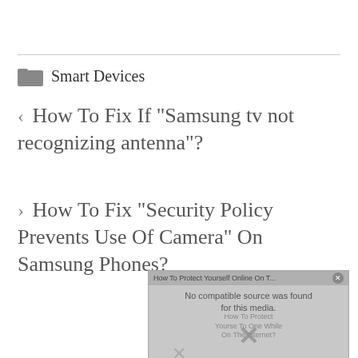Smart Devices
How To Fix If “Samsung tv not recognizing antenna”?
How To Fix “Security Policy Prevents Use Of Camera” On Samsung Phones?
[Figure (screenshot): Video player overlay showing 'How To Protect Yourself Online On T...' with 'No compatible source was found for this media.' error message and a large X watermark with 'How To Protect Yourse To dne While On The Internet?' text]